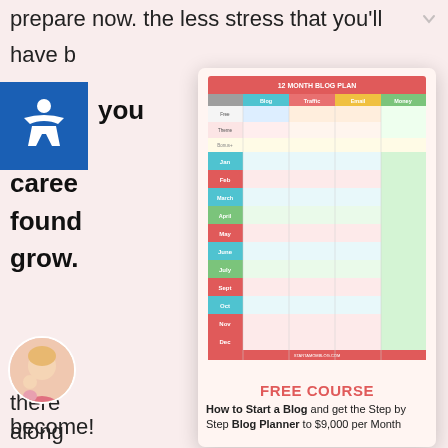prepare now. the less stress that you'll have l
you
caree
found
grow.
[Figure (infographic): 12 Month Blog Plan table infographic with columns: Blog, Traffic, Email, Money, and rows for each month Jan-Dec]
FREE COURSE
How to Start a Blog and get the Step by Step Blog Planner to $9,000 per Month
As wit
there
along
Blogg
consist
[Figure (photo): Circular avatar photo of a woman with a child]
become!